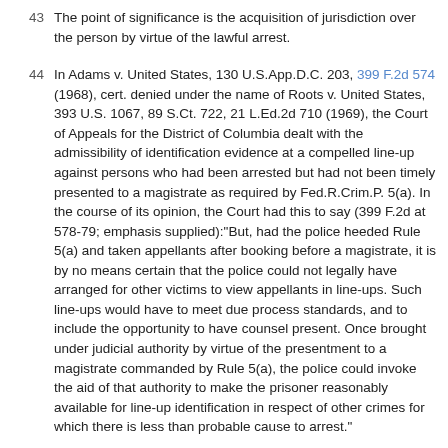43  The point of significance is the acquisition of jurisdiction over the person by virtue of the lawful arrest.
44  In Adams v. United States, 130 U.S.App.D.C. 203, 399 F.2d 574 (1968), cert. denied under the name of Roots v. United States, 393 U.S. 1067, 89 S.Ct. 722, 21 L.Ed.2d 710 (1969), the Court of Appeals for the District of Columbia dealt with the admissibility of identification evidence at a compelled line-up against persons who had been arrested but had not been timely presented to a magistrate as required by Fed.R.Crim.P. 5(a). In the course of its opinion, the Court had this to say (399 F.2d at 578-79; emphasis supplied):"But, had the police heeded Rule 5(a) and taken appellants after booking before a magistrate, it is by no means certain that the police could not legally have arranged for other victims to view appellants in line-ups. Such line-ups would have to meet due process standards, and to include the opportunity to have counsel present. Once brought under judicial authority by virtue of the presentment to a magistrate commanded by Rule 5(a), the police could invoke the aid of that authority to make the prisoner reasonably available for line-up identification in respect of other crimes for which there is less than probable cause to arrest."
45  The Court was thus suggesting that where a person has been...